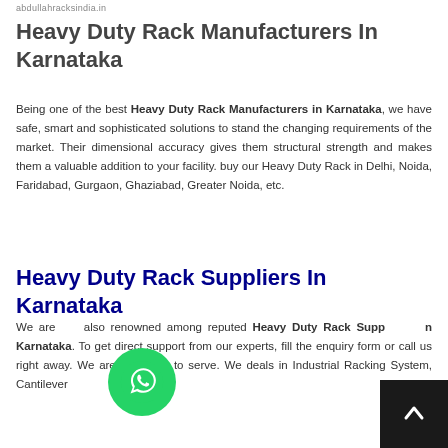abdullahracksindia.in
Heavy Duty Rack Manufacturers In Karnataka
Being one of the best Heavy Duty Rack Manufacturers in Karnataka, we have safe, smart and sophisticated solutions to stand the changing requirements of the market. Their dimensional accuracy gives them structural strength and makes them a valuable addition to your facility. buy our Heavy Duty Rack in Delhi, Noida, Faridabad, Gurgaon, Ghaziabad, Greater Noida, etc.
Heavy Duty Rack Suppliers In Karnataka
We are also renowned among reputed Heavy Duty Rack Suppliers in Karnataka. To get direct support from our experts, fill the enquiry form or call us right away. We are glad to serve. We deals in Industrial Racking System, Cantilever